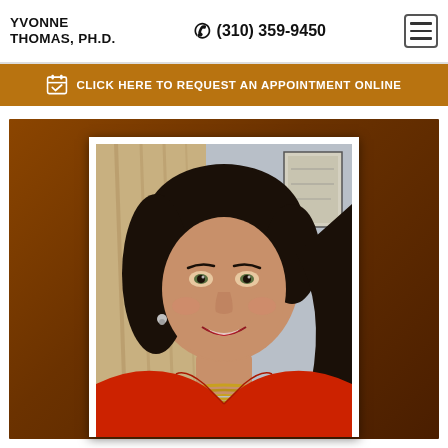YVONNE THOMAS, PH.D.  (310) 359-9450
CLICK HERE TO REQUEST AN APPOINTMENT ONLINE
[Figure (photo): Professional headshot of Yvonne Thomas, Ph.D., a woman with long dark hair wearing a red blazer and gold necklace, smiling, seated in an office setting with curtains and artwork in the background. Photo is displayed in a white frame set against a dark brown background.]